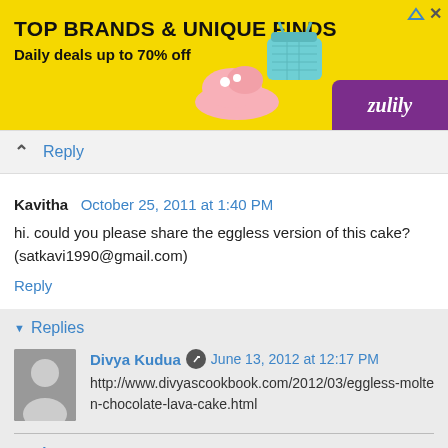[Figure (screenshot): Zulily advertisement banner with yellow background. Text reads 'TOP BRANDS & UNIQUE FINDS' and 'Daily deals up to 70% off'. Shows shoes and a bag. Purple section in bottom right with 'zulily' logo.]
Reply
Kavitha  October 25, 2011 at 1:40 PM
hi. could you please share the eggless version of this cake? (satkavi1990@gmail.com)
Reply
Replies
Divya Kudua  June 13, 2012 at 12:17 PM
http://www.divyascookbook.com/2012/03/eggless-molten-chocolate-lava-cake.html
Reply